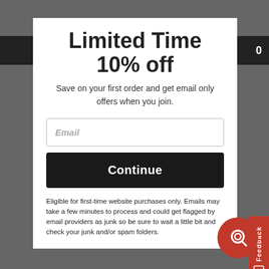Limited Time 10% off
Save on your first order and get email only offers when you join.
Email
Continue
Eligible for first-time website purchases only. Emails may take a few minutes to process and could get flagged by email providers as junk so be sure to wait a little bit and check your junk and/or spam folders.
Feedback